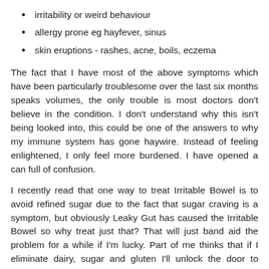irritability or weird behaviour
allergy prone eg hayfever, sinus
skin eruptions - rashes, acne, boils, eczema
The fact that I have most of the above symptoms which have been particularly troublesome over the last six months speaks volumes, the only trouble is most doctors don't believe in the condition. I don't understand why this isn't being looked into, this could be one of the answers to why my immune system has gone haywire. Instead of feeling enlightened, I only feel more burdened. I have opened a can full of confusion.
I recently read that one way to treat Irritable Bowel is to avoid refined sugar due to the fact that sugar craving is a symptom, but obviously Leaky Gut has caused the Irritable Bowel so why treat just that? That will just band aid the problem for a while if I'm lucky. Part of me thinks that if I eliminate dairy, sugar and gluten I'll unlock the door to health but on the other hand if doctors are saying it's rubbish, what am I to do? Not to mention the fact that I don't have the